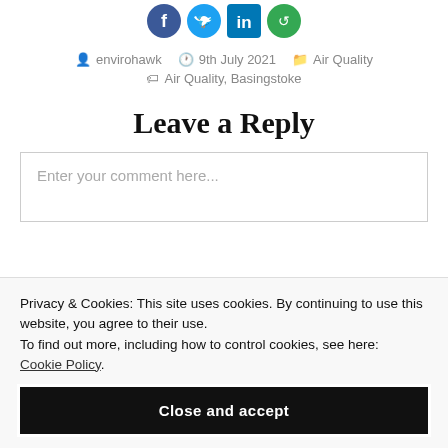[Figure (illustration): Social media share icons: Facebook (blue circle), Twitter (light blue circle), LinkedIn (teal/blue square icon), and another circular icon (green/teal), displayed in a row at the top]
envirohawk   9th July 2021   Air Quality
Air Quality, Basingstoke
Leave a Reply
Enter your comment here...
Privacy & Cookies: This site uses cookies. By continuing to use this website, you agree to their use.
To find out more, including how to control cookies, see here:
Cookie Policy
Close and accept